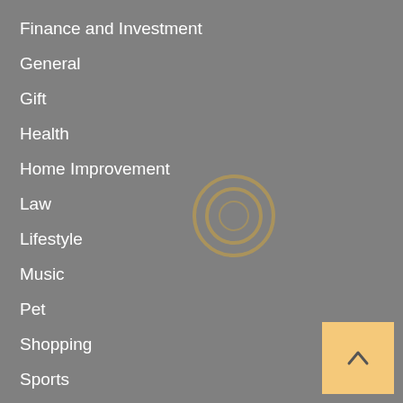Finance and Investment
General
Gift
Health
Home Improvement
Law
Lifestyle
Music
Pet
Shopping
Sports
Technology
Travel & Tourism
Uncategorized
Weddi…
[Figure (other): Circular radio button icon with two concentric rings, brownish/golden color on grey background]
[Figure (other): Back to top button: peach/light orange square with upward chevron arrow]